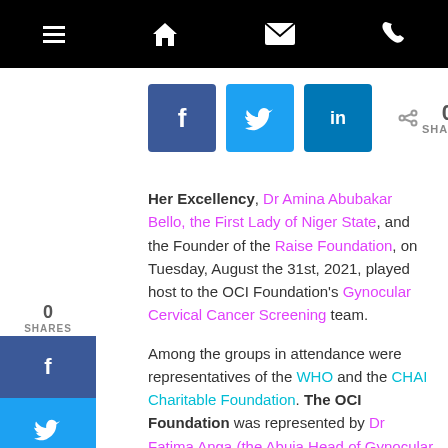Navigation bar with hamburger menu, home, mail, and phone icons
[Figure (infographic): Social share buttons row: Facebook (dark blue), Twitter (light blue), LinkedIn (teal), and share count showing 0 SHARES]
[Figure (infographic): Left sidebar share widget showing 0 SHARES with Facebook, Twitter, LinkedIn vertical buttons]
Her Excellency, Dr Amina Abubakar Bello, the First Lady of Niger State, and the Founder of the Raise Foundation, on Tuesday, August the 31st, 2021, played host to the OCI Foundation's Gynocular Cervical Cancer Screening team.

Among the groups in attendance were representatives of the WHO and the CHAI Charitable Foundation. The OCI Foundation was represented by Dr Fatima Anga (the Abuja Head of Gynocular Project), Ms Felicia Dany (the Admin), and Mr Luter Iluoha (The